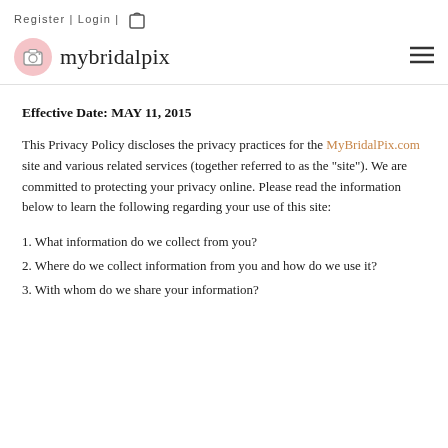Register | Login |
[Figure (logo): mybridalpix logo with pink camera icon circle and hamburger menu]
Effective Date: MAY 11, 2015
This Privacy Policy discloses the privacy practices for the MyBridalPix.com site and various related services (together referred to as the "site"). We are committed to protecting your privacy online. Please read the information below to learn the following regarding your use of this site:
1. What information do we collect from you?
2. Where do we collect information from you and how do we use it?
3. With whom do we share your information?